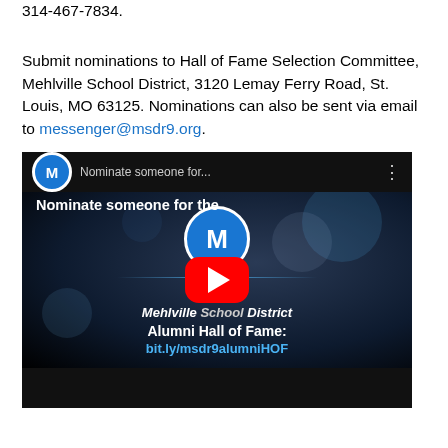314-467-7834.
Submit nominations to Hall of Fame Selection Committee, Mehlville School District, 3120 Lemay Ferry Road, St. Louis, MO 63125. Nominations can also be sent via email to messenger@msdr9.org.
[Figure (screenshot): YouTube video thumbnail for 'Nominate someone for the Mehlville School District Alumni Hall of Fame: bit.ly/msdr9alumniHOF' with a red play button in the center, Mehlville M logo, and text on a dark starfield background.]